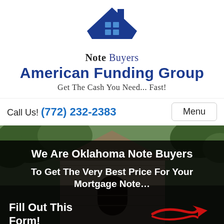[Figure (logo): Blue house/roof icon with chimney and four square windows in a 2x2 grid, serving as logo for American Funding Group Note Buyers]
Note Buyers
American Funding Group
Get The Cash You Need... Fast!
Call Us! (772) 232-2383
Menu
[Figure (photo): Background photo of a house exterior showing peaked roof, siding, and trees]
We Are Oklahoma Note Buyers
To Get The Very Best Price For Your Mortgage Note…
Fill Out This Form!
[Figure (illustration): Red hand-drawn arrow pointing to the right]